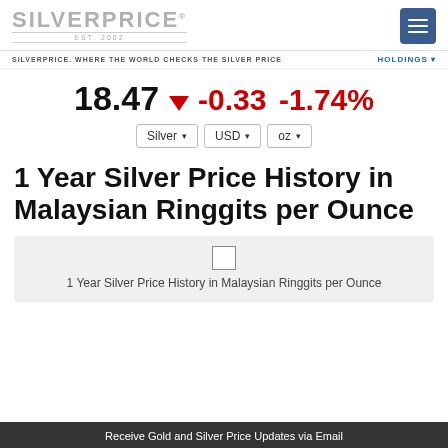SILVERPRICE EST. 2002
SILVERPRICE. WHERE THE WORLD CHECKS THE SILVER PRICE   HOLDINGS
18.47 ▼ -0.33 -1.74%
Silver  USD  oz
1 Year Silver Price History in Malaysian Ringgits per Ounce
[Figure (other): Chart placeholder box with small square icon showing 1 Year Silver Price History in Malaysian Ringgits per Ounce]
1 Year Silver Price History in Malaysian Ringgits per Ounce
Receive Gold and Silver Price Updates via Email